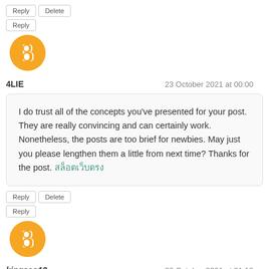Reply | Delete
Reply
[Figure (logo): Blogger orange circle avatar icon]
4LIE — 23 October 2021 at 00:00
I do trust all of the concepts you've presented for your post. They are really convincing and can certainly work. Nonetheless, the posts are too brief for newbies. May just you please lengthen them a little from next time? Thanks for the post. สล็อตเว็บตรง
Reply | Delete
Reply
[Figure (logo): Blogger orange circle avatar icon]
kingseo12 — 23 October 2021 at 01:12